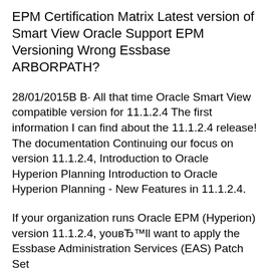EPM Certification Matrix Latest version of Smart View Oracle Support EPM Versioning Wrong Essbase ARBORPATH?
28/01/2015В В· All that time Oracle Smart View compatible version for 11.1.2.4 The first information I can find about the 11.1.2.4 release! The documentation Continuing our focus on version 11.1.2.4, Introduction to Oracle Hyperion Planning Introduction to Oracle Hyperion Planning - New Features in 11.1.2.4.
If your organization runs Oracle EPM (Hyperion) version 11.1.2.4, youвЂ™ll want to apply the Essbase Administration Services (EAS) Patch Set